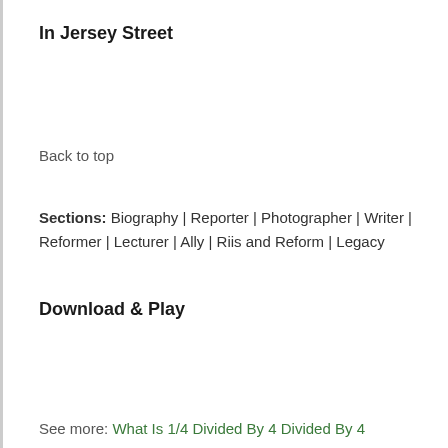In Jersey Street
Back to top
Sections: Biography | Reporter | Photographer | Writer | Reformer | Lecturer | Ally | Riis and Reform | Legacy
Download & Play
See more: What Is 1/4 Divided By 4 Divided By 4